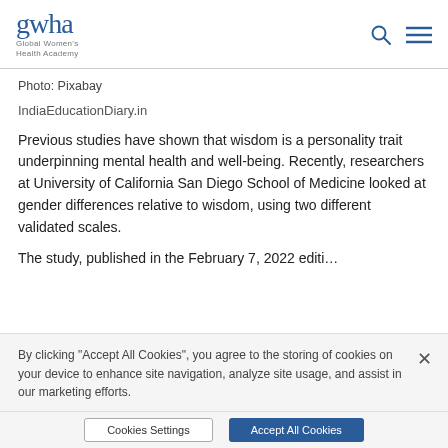gwha Global Women's Health Academy
Photo: Pixabay
IndiaEducationDiary.in
Previous studies have shown that wisdom is a personality trait underpinning mental health and well-being. Recently, researchers at University of California San Diego School of Medicine looked at gender differences relative to wisdom, using two different validated scales.
The study, published in the February 7, 2022 edition...
By clicking "Accept All Cookies", you agree to the storing of cookies on your device to enhance site navigation, analyze site usage, and assist in our marketing efforts.